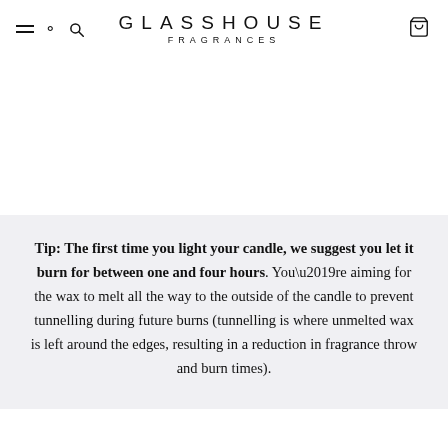GLASSHOUSE FRAGRANCES
Tip: The first time you light your candle, we suggest you let it burn for between one and four hours. You’re aiming for the wax to melt all the way to the outside of the candle to prevent tunnelling during future burns (tunnelling is where unmelted wax is left around the edges, resulting in a reduction in fragrance throw and burn times).